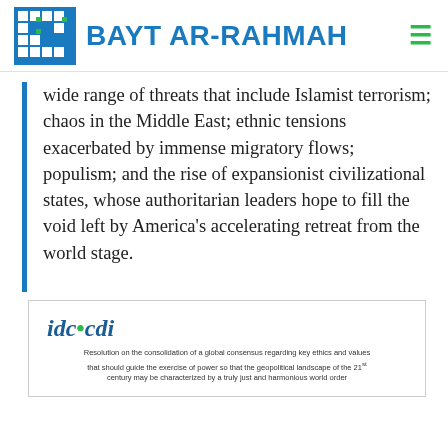BAYT AR-RAHMAH
wide range of threats that include Islamist terrorism; chaos in the Middle East; ethnic tensions exacerbated by immense migratory flows; populism; and the rise of expansionist civilizational states, whose authoritarian leaders hope to fill the void left by America's accelerating retreat from the world stage.
[Figure (screenshot): Embedded card showing idc·cdi logo and resolution text about consolidation of a global consensus regarding key ethics and values that should guide the exercise of power so that the geopolitical landscape of the 21st century may be characterized by a truly just and harmonious world order]